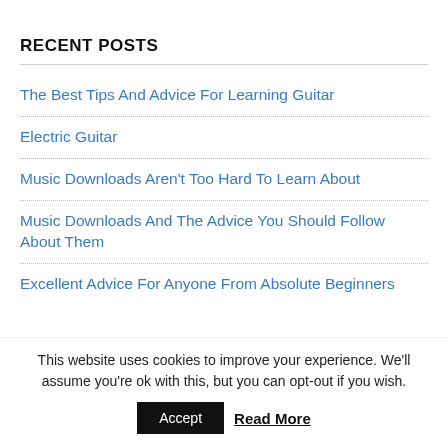RECENT POSTS
The Best Tips And Advice For Learning Guitar
Electric Guitar
Music Downloads Aren't Too Hard To Learn About
Music Downloads And The Advice You Should Follow About Them
Excellent Advice For Anyone From Absolute Beginners
This website uses cookies to improve your experience. We'll assume you're ok with this, but you can opt-out if you wish.
Accept  Read More